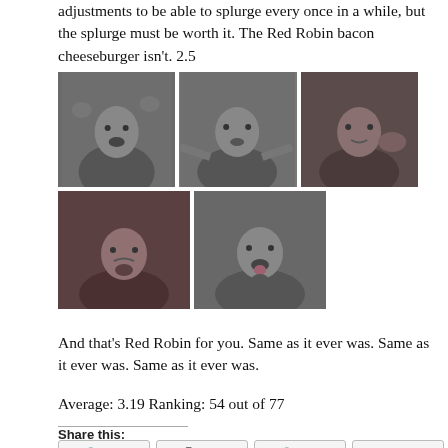adjustments to be able to splurge every once in a while, but the splurge must be worth it. The Red Robin bacon cheeseburger isn't. 2.5
[Figure (photo): Five black-and-white photos of the same middle-aged man with a goatee making various expressive facial gestures: angry/frustrated, pointing, side gesture, looking sad/tired, sticking out tongue. Arranged in two rows: 3 photos on top, 2 on bottom.]
And that's Red Robin for you. Same as it ever was. Same as it ever was. Same as it ever was.
Average: 3.19 Ranking: 54 out of 77
Share this: